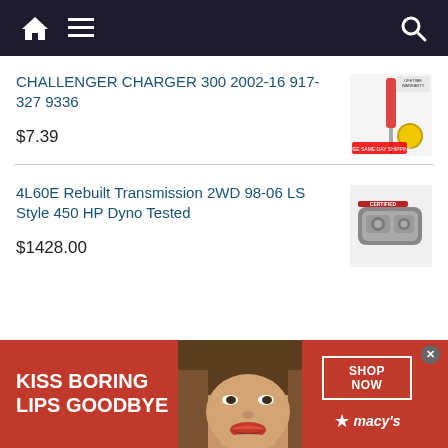Navigation bar with home, menu, and search icons
CHALLENGER CHARGER 300 2002-16 917-327 9336
$7.39
[Figure (photo): Product image of a screwdriver kit with free same day shipping badge and instruction manual]
4L60E Rebuilt Transmission 2WD 98-06 LS Style 450 HP Dyno Tested
$1428.00
[Figure (photo): Product image of a rebuilt 4L60E transmission]
[Figure (infographic): Macy's advertisement banner: KISS BORING LIPS GOODBYE with SHOP NOW button and Macy's star logo, featuring a woman with red lipstick]